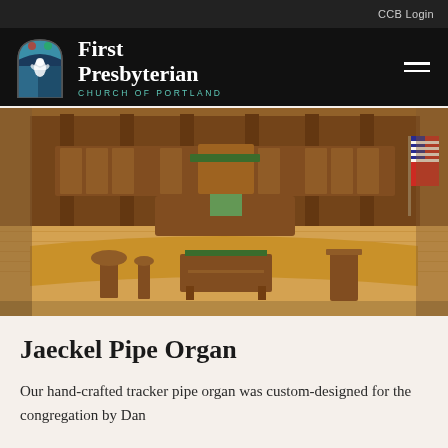CCB Login
First Presbyterian CHURCH OF PORTLAND
[Figure (photo): Interior of First Presbyterian Church of Portland sanctuary, showing ornate dark wood furniture, choir chairs, pulpit area, altar table with green cloth, baptismal font, and hardwood floors. American flag visible on right side.]
Jaeckel Pipe Organ
Our hand-crafted tracker pipe organ was custom-designed for the congregation by Dan